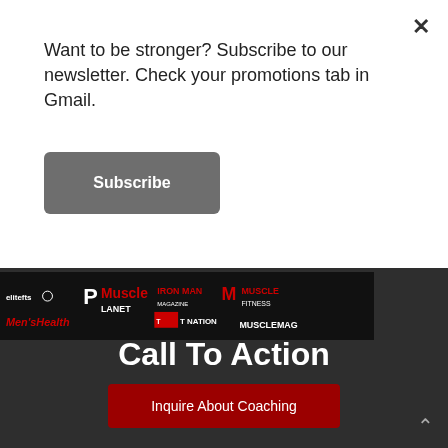Want to be stronger? Subscribe to our newsletter. Check your promotions tab in Gmail.
Subscribe
[Figure (logo): Brands bar with logos: elitefts, Men's Health, Muscle Planet, Iron Man, T Nation, Muscle Mag, Muscle Fitness on black background]
Call To Action
Inquire About Coaching
Inquire About Seminars
Shop Now